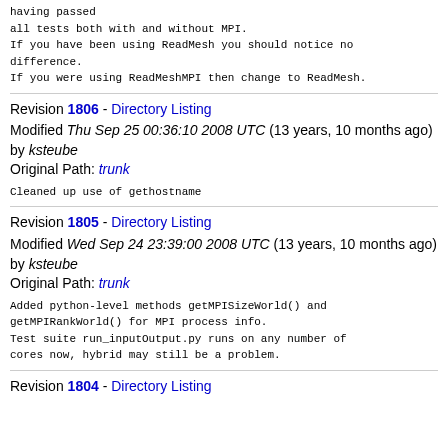having passed
all tests both with and without MPI.
If you have been using ReadMesh you should notice no difference.
If you were using ReadMeshMPI then change to ReadMesh.
Revision 1806 - Directory Listing
Modified Thu Sep 25 00:36:10 2008 UTC (13 years, 10 months ago) by ksteube
Original Path: trunk
Cleaned up use of gethostname
Revision 1805 - Directory Listing
Modified Wed Sep 24 23:39:00 2008 UTC (13 years, 10 months ago) by ksteube
Original Path: trunk
Added python-level methods getMPISizeWorld() and
getMPIRankWorld() for MPI process info.
Test suite run_inputOutput.py runs on any number of
cores now, hybrid may still be a problem.
Revision 1804 - Directory Listing